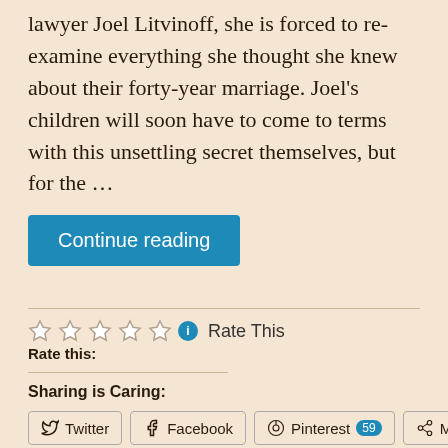lawyer Joel Litvinoff, she is forced to re-examine everything she thought she knew about their forty-year marriage. Joel's children will soon have to come to terms with this unsettling secret themselves, but for the …
Continue reading
Rate This
Rate this:
Sharing is Caring:
Twitter
Facebook
Pinterest 59
More
Like